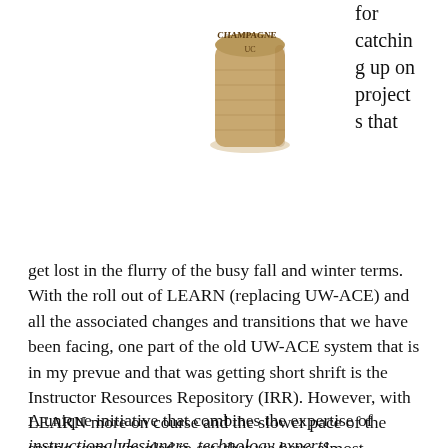[Figure (photo): A champagne cork with text 'CHAMPAGNE' and 'UC' visible on its top surface, photographed against a white background.]
for catching up on projects that get lost in the flurry of the busy fall and winter terms. With the roll out of LEARN (replacing UW-ACE) and all the associated changes and transitions that we have been facing, one part of the old UW-ACE system that is in my prevue and that was getting short shrift is the Instructor Resources Repository (IRR). However, with LEARN more on course and the slower pace of the spring term, I'm glad to say that we have almost completed the migration of the IRR to the Learning Object Repository (LOR) in LEARN.
A unique initiative that combines the expertise of instructional designers, technology experts